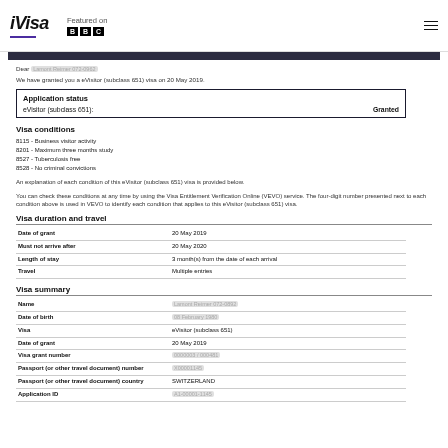iVisa — Featured on BBC
Dear [redacted name]
We have granted you a eVisitor (subclass 651) visa on 20 May 2019.
| Application status |  |
| --- | --- |
| eVisitor (subclass 651): | Granted |
Visa conditions
8115 - Business visitor activity
8201 - Maximum three months study
8527 - Tuberculosis free
8528 - No criminal convictions
An explanation of each condition of this eVisitor (subclass 651) visa is provided below.
You can check these conditions at any time by using the Visa Entitlement Verification Online (VEVO) service. The four-digit number presented next to each condition above is used in VEVO to identify each condition that applies to this eVisitor (subclass 651) visa.
Visa duration and travel
| Field | Value |
| --- | --- |
| Date of grant | 20 May 2019 |
| Must not arrive after | 20 May 2020 |
| Length of stay | 3 month(s) from the date of each arrival |
| Travel | Multiple entries |
Visa summary
| Field | Value |
| --- | --- |
| Name | [redacted] |
| Date of birth | [redacted] |
| Visa | eVisitor (subclass 651) |
| Date of grant | 20 May 2019 |
| Visa grant number | [redacted] |
| Passport (or other travel document) number | [redacted] |
| Passport (or other travel document) country | SWITZERLAND |
| Application ID | [redacted] |